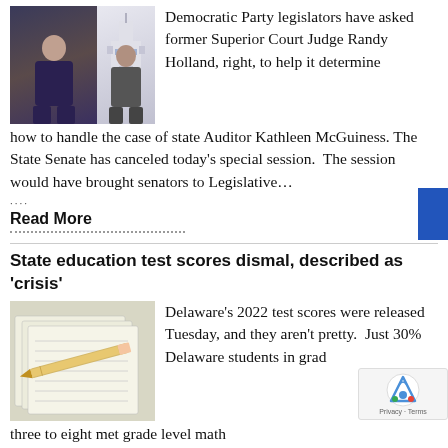[Figure (photo): Two portrait photos side by side: a woman on the left and a man on the right, with a government building in the background]
Democratic Party legislators have asked former Superior Court Judge Randy Holland, right, to help it determine how to handle the case of state Auditor Kathleen McGuiness. The State Senate has canceled today's special session. The session would have brought senators to Legislative…
....
Read More
State education test scores dismal, described as 'crisis'
[Figure (photo): Photo of test papers with a pencil on top]
Delaware's 2022 test scores were released Tuesday, and they aren't pretty. Just 30% Delaware students in grad three to eight met grade level math